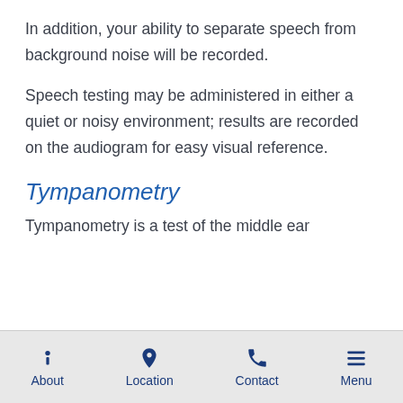In addition, your ability to separate speech from background noise will be recorded.
Speech testing may be administered in either a quiet or noisy environment; results are recorded on the audiogram for easy visual reference.
Tympanometry
Tympanometry is a test of the middle ear
About | Location | Contact | Menu